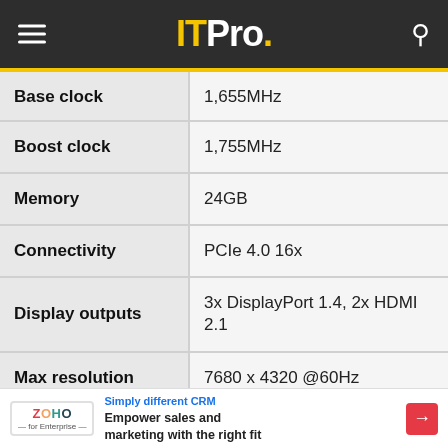ITPro.
| Spec | Value |
| --- | --- |
| Base clock | 1,655MHz |
| Boost clock | 1,755MHz |
| Memory | 24GB |
| Connectivity | PCIe 4.0 16x |
| Display outputs | 3x DisplayPort 1.4, 2x HDMI 2.1 |
| Max resolution | 7680 x 4320 @60Hz |
[Figure (other): Zoho CRM advertisement banner: 'Simply different CRM — Empower sales and marketing with the right fit']